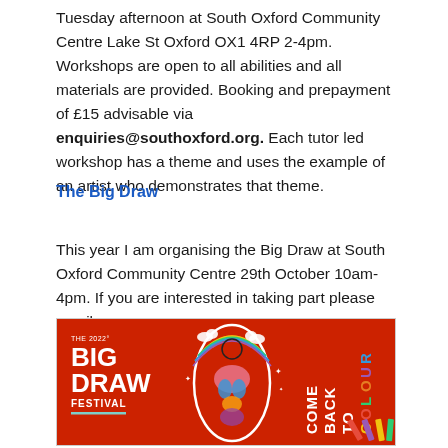Tuesday afternoon at South Oxford Community Centre Lake St Oxford OX1 4RP 2-4pm. Workshops are open to all abilities and all materials are provided. Booking and prepayment of £15 advisable via enquiries@southoxford.org. Each tutor led workshop has a theme and uses the example of an artist who demonstrates that theme.
The Big Draw
This year I am organising the Big Draw at South Oxford Community Centre 29th October 10am-4pm. If you are interested in taking part please email me.
[Figure (illustration): The 2022 Big Draw Festival promotional image on a red background. Left side shows white bold text reading 'THE 2022 BIG DRAW FESTIVAL' with a teal underline. Centre shows a stylised human figure outline containing colourful anatomical/rainbow illustration. Right side shows colourful vertical text reading 'COME BACK TO COLOUR' in multicolour lettering.]